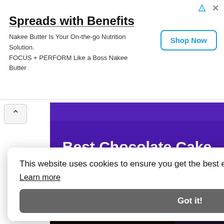[Figure (other): Advertisement banner for Nakee Butter - Spreads with Benefits]
Best Chocolate Cake
[Figure (photo): Close-up photo of a slice of dark chocolate cake with chocolate frosting]
This website uses cookies to ensure you get the best experience on our website.
Learn more
Got it!